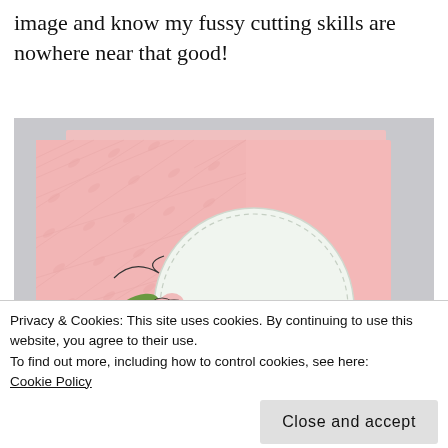image and know my fussy cutting skills are nowhere near that good!
[Figure (photo): A pink handmade greeting card with embossed texture on the left side and a smooth right panel. A white circular panel with stitched border sits in the center-lower area of the card, with 'Thank You' written in script. A colorful rose with green leaves is partially visible on the left edge of the circular panel.]
Privacy & Cookies: This site uses cookies. By continuing to use this website, you agree to their use.
To find out more, including how to control cookies, see here:
Cookie Policy
Close and accept